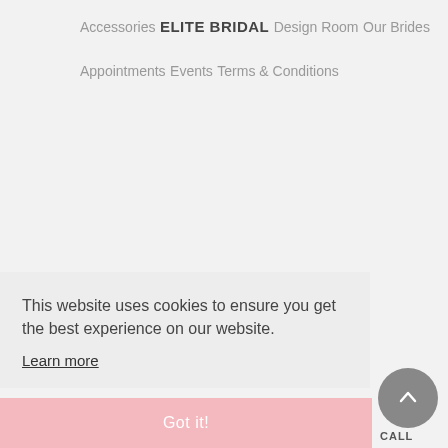Accessories
ELITE BRIDAL
Design Room
Our Brides
Appointments
Events
Terms & Conditions
This website uses cookies to ensure you get the best experience on our website.
Learn more
Got it!
CALL